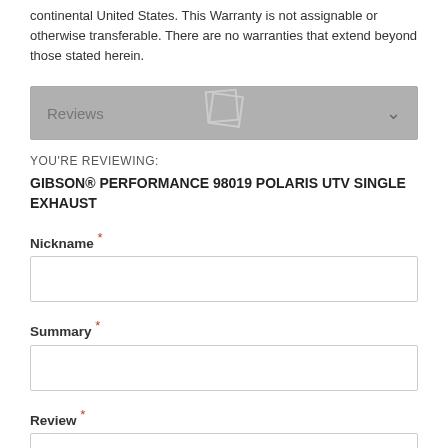continental United States. This Warranty is not assignable or otherwise transferable. There are no warranties that extend beyond those stated herein.
[Figure (other): Reviews accordion/collapsible section bar with a logo watermark in the center and a chevron/down arrow on the right]
YOU'RE REVIEWING:
GIBSON® PERFORMANCE 98019 POLARIS UTV SINGLE EXHAUST
Nickname *
Summary *
Review *